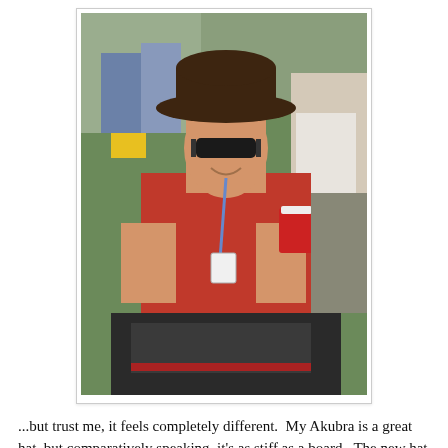[Figure (photo): A man wearing a dark brown wide-brimmed hat and sunglasses, smiling, dressed in a red T-shirt with a lanyard. He is holding a red cup and seated outdoors at what appears to be a festival or outdoor gathering. Other people and green grass are visible in the background.]
...but trust me, it feels completely different.  My Akubra is a great hat, but comparatively speaking, it's as stiff as a board.  The new hat - an Adventurebilt Deluxe - is as soft as butter.  It's also darker in colour and quite a lot higher in the crown.  As beaver felt (as opposed to rabbit), it should also